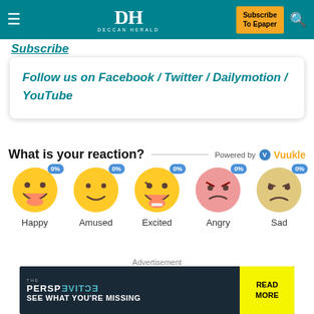Deccan Herald — Subscribe To Epaper
Subscribe
Follow us on Facebook / Twitter / Dailymotion / YouTube
What is your reaction? Powered by Vuukle
[Figure (infographic): Five emoji reaction icons labeled Happy, Amused, Excited, Angry, Sad each showing 0%]
Advertisement
[Figure (infographic): The Perspective advertisement banner: SEE WHAT YOU'RE MISSING — READ MORE]